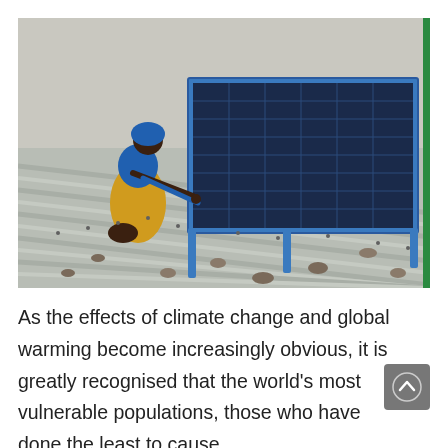[Figure (photo): A person wearing a blue top and yellow patterned skirt crouches on a corrugated metal rooftop, working on installing blue-framed solar panels. The background shows a hazy sky. Rocks are scattered across the metal roof.]
As the effects of climate change and global warming become increasingly obvious, it is greatly recognised that the world's most vulnerable populations, those who have done the least to cause